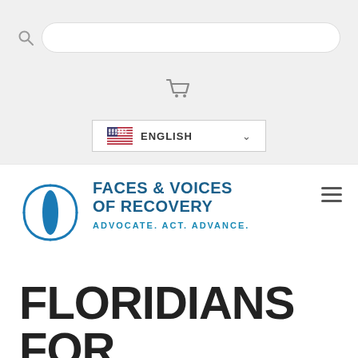[Figure (screenshot): Search bar input field with magnifying glass icon on gray background]
[Figure (illustration): Shopping cart icon on gray background]
[Figure (illustration): Language selector dropdown showing US flag and ENGLISH text with chevron]
[Figure (logo): Faces & Voices of Recovery logo with stylized wave icon and text ADVOCATE. ACT. ADVANCE.]
[Figure (illustration): Hamburger menu icon (three horizontal lines)]
FLORIDIANS FOR RECOVERY